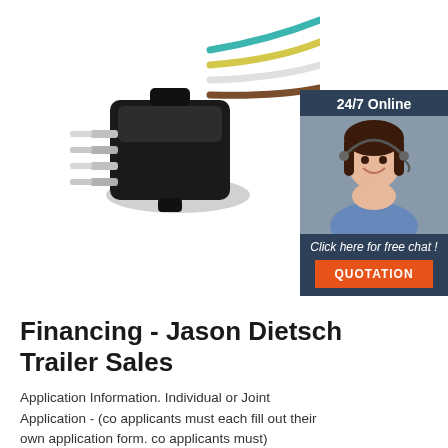[Figure (photo): Photo of a 4-pin trailer wiring connector/plug with colored wires (teal, yellow, white, brown) and a customer service agent with headset overlay and chat widget on the right side showing '24/7 Online', 'Click here for free chat!', and 'QUOTATION' button.]
Financing - Jason Dietsch Trailer Sales
Application Information. Individual or Joint Application - (co applicants must each fill out their own application form. co applicants must)